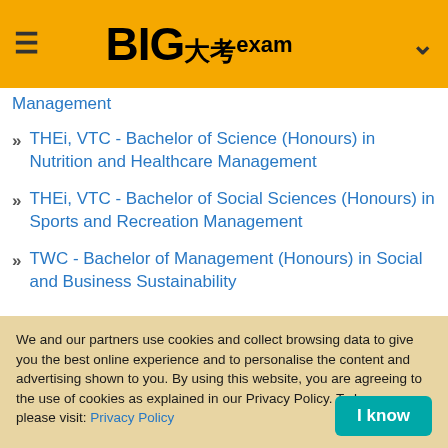BIG大考exam
Management
THEi, VTC - Bachelor of Science (Honours) in Nutrition and Healthcare Management
THEi, VTC - Bachelor of Social Sciences (Honours) in Sports and Recreation Management
TWC - Bachelor of Management (Honours) in Social and Business Sustainability
UOWCHK - Associate of Business Administration in
We and our partners use cookies and collect browsing data to give you the best online experience and to personalise the content and advertising shown to you. By using this website, you are agreeing to the use of cookies as explained in our Privacy Policy. To know more, please visit: Privacy Policy